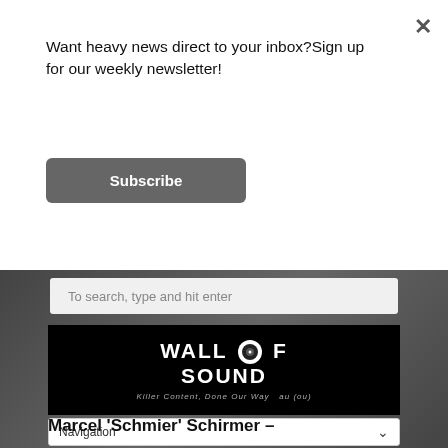Want heavy news direct to your inbox?Sign up for our weekly newsletter!
Subscribe
[Figure (screenshot): Search bar with placeholder text 'To search, type and hit enter' on a dark textured background]
[Figure (logo): Wall of Sound logo - white text on black background with speaker icon, tagline 'Killer Content, Done Our Way']
Navigation
Marcel 'Schmier' Schirmer –